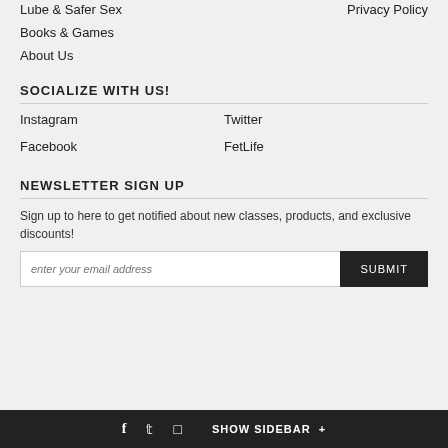Lube & Safer Sex
Privacy Policy
Books & Games
About Us
SOCIALIZE WITH US!
Instagram
Twitter
Facebook
FetLife
NEWSLETTER SIGN UP
Sign up to here to get notified about new classes, products, and exclusive discounts!
enter your email address  SUBMIT
f  t  [instagram icon]  SHOW SIDEBAR +